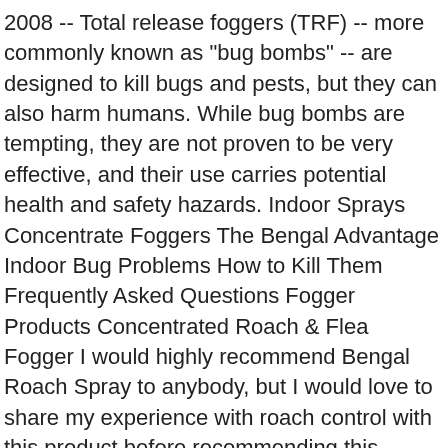2008 -- Total release foggers (TRF) -- more commonly known as "bug bombs" -- are designed to kill bugs and pests, but they can also harm humans. While bug bombs are tempting, they are not proven to be very effective, and their use carries potential health and safety hazards. Indoor Sprays Concentrate Foggers The Bengal Advantage Indoor Bug Problems How to Kill Them Frequently Asked Questions Fogger Products Concentrated Roach & Flea Fogger I would highly recommend Bengal Roach Spray to anybody, but I would love to share my experience with roach control with this product before recommending this product.. Bengal Roach Spray Review – Best Roach Killer in 2021. There are no reviews for this product yet. Bengal Flea and Tick Fogger is an excellent insecticide that controls heavy flea infestations. Available in ... product codes download sds; non-flammable fogger: 68543-2: ... Turned off the A/C and closed up the apartment. Your recently viewed items and featured recommendations, Select the department you want to search in, Reviewed in the United States on April 26, 2019. Reviewed in the